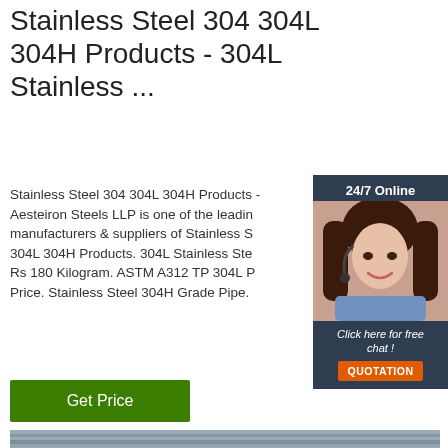Stainless Steel 304 304L 304H Products - 304L Stainless ...
Stainless Steel 304 304L 304H Products - Aesteiron Steels LLP is one of the leading manufacturers & suppliers of Stainless Steel 304L 304H Products. 304L Stainless Steel Price Rs 180 Kilogram. ASTM A312 TP 304L Pipe Price. Stainless Steel 304H Grade Pipe.
[Figure (other): Customer service representative with headset, 24/7 Online chat widget with QUOTATION button]
[Figure (other): Photo of stainless steel plates/bars in an industrial yard with bridge structure in background, with TOP logo overlay]